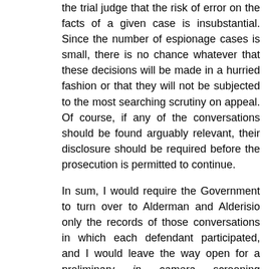the trial judge that the risk of error on the facts of a given case is insubstantial. Since the number of espionage cases is small, there is no chance whatever that these decisions will be made in a hurried fashion or that they will not be subjected to the most searching scrutiny on appeal. Of course, if any of the conversations should be found arguably relevant, their disclosure should be required before the prosecution is permitted to continue.
In sum, I would require the Government to turn over to Alderman and Alderisio only the records of those conversations in which each defendant participated, and I would leave the way open for a preliminary in camera screening procedure in the Ivanov and Butenko cases.
[Footnote 2/1]
I also am unable to accept my Brother FORTAS' suggestion that standing be accorded to any defendant who can show that an illegal search or seizure was